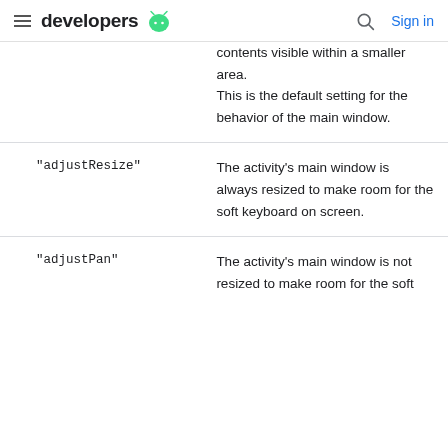developers
| Value | Description |
| --- | --- |
|  | contents visible within a smaller area.
This is the default setting for the behavior of the main window. |
| "adjustResize" | The activity's main window is always resized to make room for the soft keyboard on screen. |
| "adjustPan" | The activity's main window is not resized to make room for the soft |